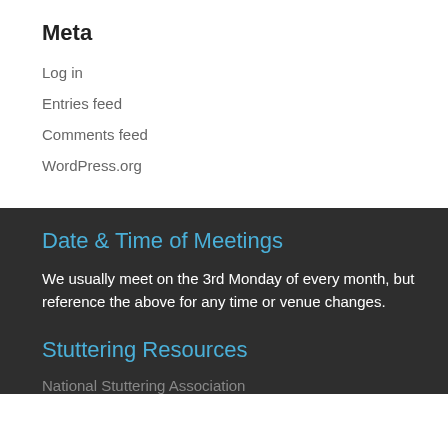Meta
Log in
Entries feed
Comments feed
WordPress.org
Date & Time of Meetings
We usually meet on the 3rd Monday of every month, but reference the above for any time or venue changes.
Stuttering Resources
National Stuttering Association